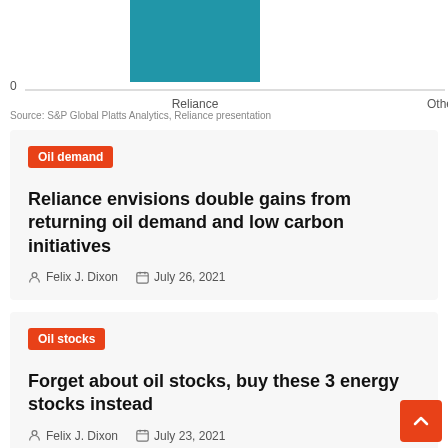[Figure (bar-chart): Partial bar chart showing two bars for Reliance and Others categories, with y-axis label 0]
Source: S&P Global Platts Analytics, Reliance presentation
Oil demand
Reliance envisions double gains from returning oil demand and low carbon initiatives
Felix J. Dixon   July 26, 2021
Oil stocks
Forget about oil stocks, buy these 3 energy stocks instead
Felix J. Dixon   July 23, 2021